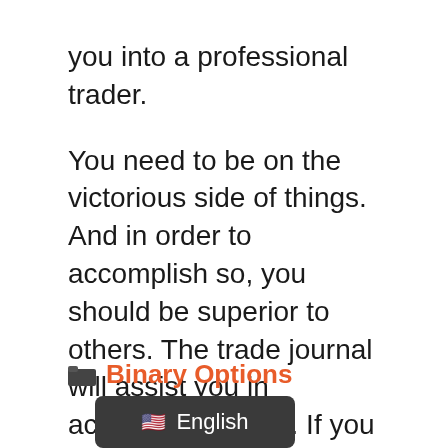you into a professional trader.
You need to be on the victorious side of things. And in order to accomplish so, you should be superior to others. The trade journal will assist you in achieving this aim. If you are utilizing it, you will be obviously ahead of others who aren't. You should recognize that you should strive to outperform other investors, not brokerages. The brokerage firms will give an average compensation depending on the overall return that an ordinary client may expect.
Binary Options
[Figure (other): Language selector button showing US flag emoji and the text 'English' on a dark gray rounded rectangle background]